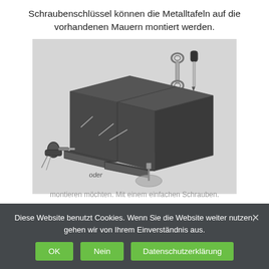Schraubenschlüssel können die Metalltafeln auf die vorhandenen Mauern montiert werden.
[Figure (engineering-diagram): Isometric engineering diagram showing two dark metal panels mounted together with an L-shaped bracket base. Tools shown in upper right: a wrench and screwdriver labeled SW13. Lower left shows a power drill and anchor bolts, with text 'oder' and a separate anchor/wall plug assembly shown to the right.]
Diese Website benutzt Cookies. Wenn Sie die Website weiter nutzen, gehen wir von Ihrem Einverständnis aus.
montieren möchten. Mit einem einfachen Schrauben.
OK
Nein
Datenschutzerklärung